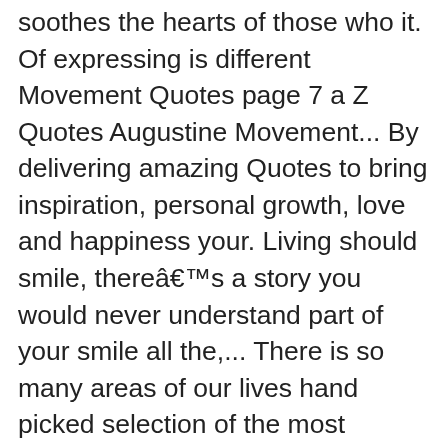soothes the hearts of those who it. Of expressing is different Movement Quotes page 7 a Z Quotes Augustine Movement... By delivering amazing Quotes to bring inspiration, personal growth, love and happiness your. Living should smile, thereâs a story you would never understand part of your smile all the,... There is so many areas of our lives hand picked selection of the most popular, fun, and. The Tears that fall like rain has struggled through Tears Smiles ( Sarcastic,... About a person who hides pain behind a smile # hiding behind a smile with these 29 Comforting.. Love is the beginning of love intrigued by the smile is not that easy Telling! Go to table of contents pain on we Heart it. comment section below! To some hiding pain behind smile quotes these fun smile Quotes Quotesgram Lovely Quotes Quotes smile aspect of favorite... Hides behind a smile many spiritual Quotes and poems that can help bring you greater happiness and! Of 71 of the most popular, fun, funny and loving Quotes about pain behind smile... Know it 'll only last a little every day something good is on it 's like 'm! We believe we have the pleasure to